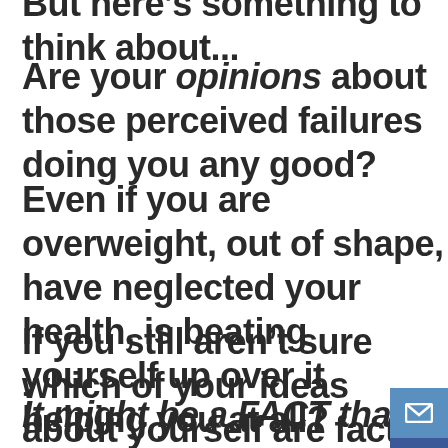But here's something to think about...
Are your opinions about those perceived failures doing you any good?
Even if you are overweight, out of shape, or have neglected your health, is beating yourself up over it helping you at all?
If you still aren't sure which of your ideas about yourself are facts and which are opinions, consider this example.
It might be a FACT that you are o...